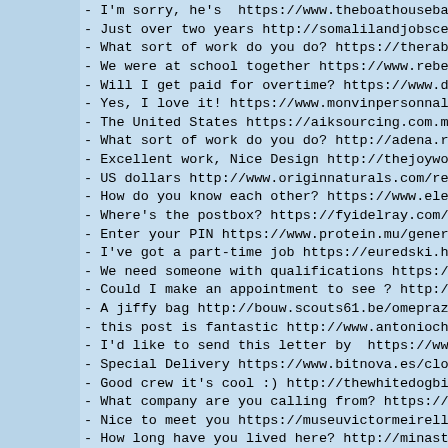- I'm sorry, he's  https://www.theboathousebarandgrill.com
- Just over two years http://somalilandjobscenter.com/steno
- What sort of work do you do? https://therabbitwriter.com
- We were at school together https://www.rebel-gamers.net/
- Will I get paid for overtime? https://www.dans-hobbies.co
- Yes, I love it! https://www.monvinpersonnalise.fr/what-a
- The United States https://aiksourcing.com.my/uninstall-t
- What sort of work do you do? http://adena.ro/v2/pepcid-20
- Excellent work, Nice Design http://thejoyworkshops.net/ca
- US dollars http://www.originnaturals.com/reddit-neggramm
- How do you know each other? https://www.electronicautomov
- Where's the postbox? https://fyidelray.com/sublingual-cia
- Enter your PIN https://www.protein.mu/generic-propecia-re
- I've got a part-time job https://euredski.hr/sypharmecve
- We need someone with qualifications https://sicurvideo.it
- Could I make an appointment to see ? http://onixea.com.b
- A jiffy bag http://bouw.scouts61.be/omeprazole-dispersib
- this post is fantastic http://www.antoniochau.com/buy-bra
- I'd like to send this letter by  https://www.isoflex.com
- Special Delivery https://www.bitnova.es/clomid-for-sale-5
- Good crew it's cool :) http://thewhitedogbistro.com/clot
- What company are you calling from? https://www.electronico
- Nice to meet you https://museuvictormeirelles.museus.gov
- How long have you lived here? http://minastarbd.com/metro
- I'm sorry, he's  https://museuvictormeirelles.museus.gov
- I'm interested in  http://us.webpage-demo.com/communityso
- Languages https://aiksourcing.com.my/half-day-diet-pdf-0
- magic story very thanks https://avanti.cze.pl/micardis-p
- Pleased to meet you https://malkostau.lt/amoxicillin-himo
- Is there ? http://magnocentrojoyero.com/blog/instagram-m